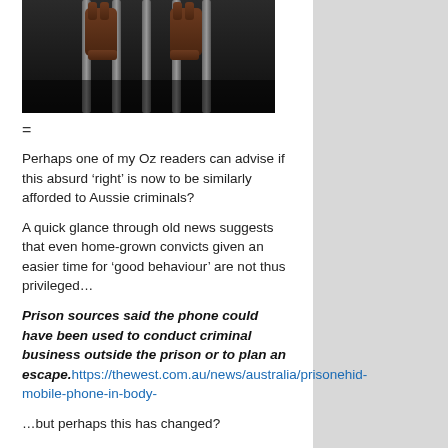[Figure (photo): Hands gripping prison bars, dark background]
=
Perhaps one of my Oz readers can advise if this absurd ‘right’ is now to be similarly afforded to Aussie criminals?
A quick glance through old news suggests that even home-grown convicts given an easier time for ‘good behaviour’ are not thus privileged…
Prison sources said the phone could have been used to conduct criminal business outside the prison or to plan an escape. https://thewest.com.au/news/australia/prisonehid-mobile-phone-in-body-
…but perhaps this has changed?
I’m hardly a big fan of prisoners’ “rights,” but if every alien boat-bludger can make hay with phones…